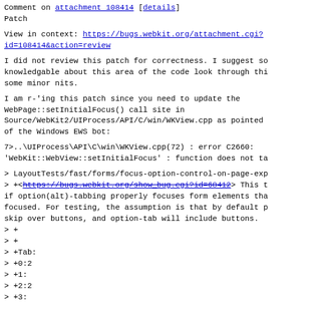Comment on attachment 108414 [details]
Patch
View in context: https://bugs.webkit.org/attachment.cgi?id=108414&action=review
I did not review this patch for correctness. I suggest someone knowledgable about this area of the code look through this. I have some minor nits.
I am r-'ing this patch since you need to update the WebPage::setInitialFocus() call site in Source/WebKit2/UIProcess/API/C/win/WKView.cpp as pointed out of the Windows EWS bot:
7>..\UIProcess\API\C\win\WKView.cpp(72) : error C2660:
'WebKit::WebView::setInitialFocus' : function does not ta
> LayoutTests/fast/forms/focus-option-control-on-page-exp
> +<https://bugs.webkit.org/show_bug.cgi?id=68412> This t
if option(alt)-tabbing properly focuses form elements tha
focused. For testing, the assumption is that by default p
skip over buttons, and option-tab will include buttons.
> +
> +
> +Tab:
> +0:2
> +1:
> +2:2
> +3: